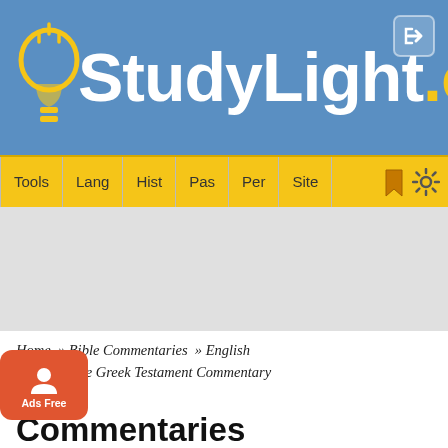[Figure (logo): StudyLight.org logo on blue header with light bulb icon]
Tools | Lang | Hist | Pas | Per | Site
[Figure (other): Gray advertisement area]
Home » Bible Commentaries » English » Cambridge Greek Testament Commentary » 3 John
Commentaries
Cambridge Greek Testament Commentary
3 John 1